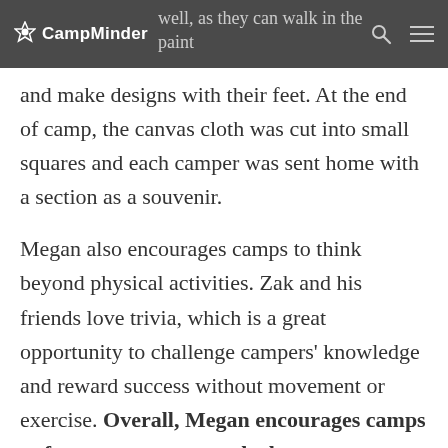CampMinder
well, as they can walk in the paint and make designs with their feet. At the end of camp, the canvas cloth was cut into small squares and each camper was sent home with a section as a souvenir.
Megan also encourages camps to think beyond physical activities. Zak and his friends love trivia, which is a great opportunity to challenge campers' knowledge and reward success without movement or exercise. Overall, Megan encourages camps to focus on campers and what